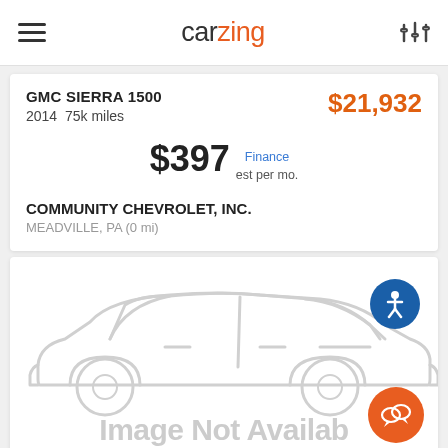carzing
GMC SIERRA 1500
2014  75k miles
$21,932
$397 Finance est per mo.
COMMUNITY CHEVROLET, INC.
MEADVILLE, PA (0 mi)
[Figure (illustration): Car silhouette placeholder image with 'Image Not Available' text overlay, accessibility icon (blue circle with person figure), and orange chat bubble icon in bottom right corner.]